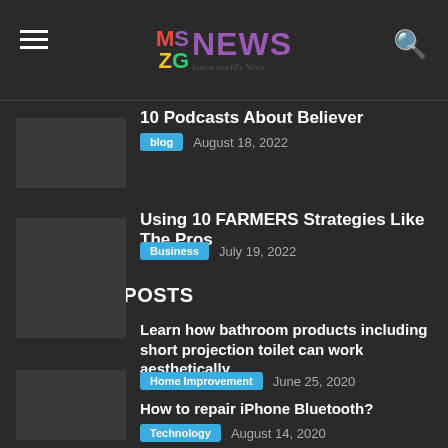MSZG NEWS - Latest World's News
10 Podcasts About Believer
blog  August 18, 2022
Using 10 FARMERS Strategies Like The Pros
Business  July 19, 2022
POPULAR POSTS
Learn how bathroom products including short projection toilet can work aesthetically
Home Improvement  June 25, 2020
How to repair iPhone Bluetooth?
Technology  August 14, 2020